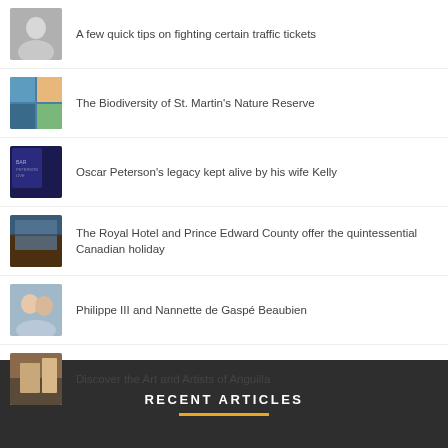A few quick tips on fighting certain traffic tickets
The Biodiversity of St. Martin's Nature Reserve
Oscar Peterson's legacy kept alive by his wife Kelly
The Royal Hotel and Prince Edward County offer the quintessential Canadian holiday
Philippe III and Nannette de Gaspé Beaubien
Discover the Art and Artists of Anguilla
RECENT ARTICLES